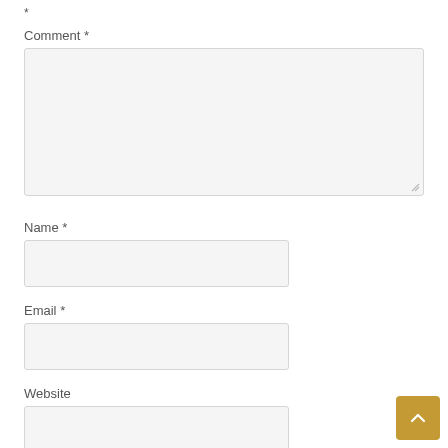*
Comment *
[Figure (other): Large empty textarea input box for comment with resize handle at bottom right]
Name *
[Figure (other): Text input field for Name]
Email *
[Figure (other): Text input field for Email]
Website
[Figure (other): Text input field for Website]
Save my name, email, and website in this browser for the next time I comment.
[Figure (other): Submit button (partially visible, golden/amber color)]
[Figure (other): Scroll-to-top button, golden square with up arrow, bottom right corner]